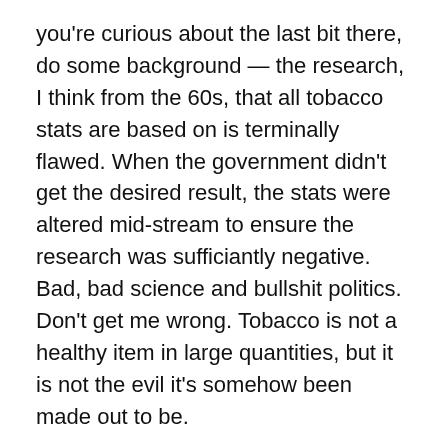you're curious about the last bit there, do some background — the research, I think from the 60s, that all tobacco stats are based on is terminally flawed. When the government didn't get the desired result, the stats were altered mid-stream to ensure the research was sufficiantly negative. Bad, bad science and bullshit politics. Don't get me wrong. Tobacco is not a healthy item in large quantities, but it is not the evil it's somehow been made out to be.
From the link:
This following mercilessly swiped table indicates the new Federal excise tax on tobacco products, along with the current taxes we all know and despise, and the proposed taxes vetoed twice by ex-prez G.W. The new rates go into effect 1st April, 2009. Fortunately, for most of us, pipe